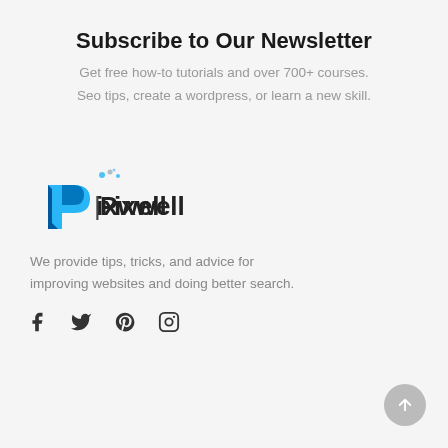Subscribe to Our Newsletter
Get free how-to tutorials and over 700+ courses.
Seo tips, create a wordpress, or learn a new skill.
[Figure (logo): Pixwell logo with blue stylized letter P and colorful dots]
We provide tips, tricks, and advice for improving websites and doing better search.
[Figure (infographic): Social media icons: Facebook, Twitter, Pinterest, Instagram]
[Figure (other): Back to top arrow button, circular gray button with upward arrow]